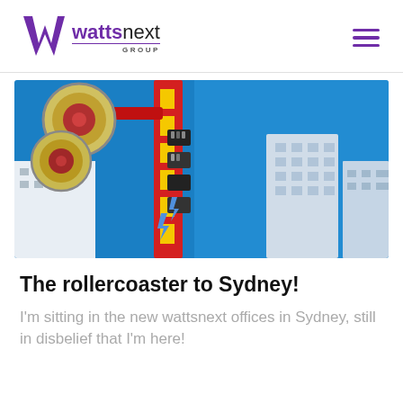wattsnext GROUP
[Figure (photo): A colorful carnival/fair ride (rollercoaster or amusement ride) in bright red and yellow with circular disc elements on the left, set against a vivid blue sky with city buildings in background, taken from a low angle looking upward.]
The rollercoaster to Sydney!
I'm sitting in the new wattsnext offices in Sydney, still in disbelief that I'm here!